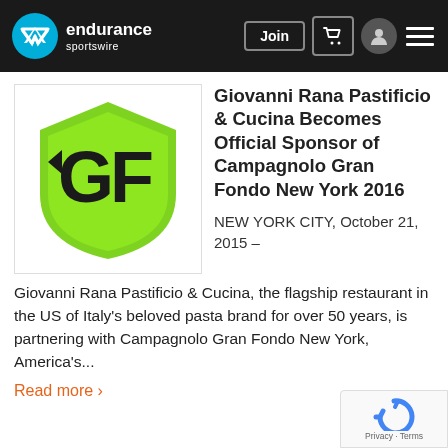endurance sportswire — Join
[Figure (logo): Giovanni Rana GF shield logo — green shield with black GF letters]
Giovanni Rana Pastificio & Cucina Becomes Official Sponsor of Campagnolo Gran Fondo New York 2016
NEW YORK CITY, October 21, 2015 –
Giovanni Rana Pastificio & Cucina, the flagship restaurant in the US of Italy's beloved pasta brand for over 50 years, is partnering with Campagnolo Gran Fondo New York, America's...
Read more ›